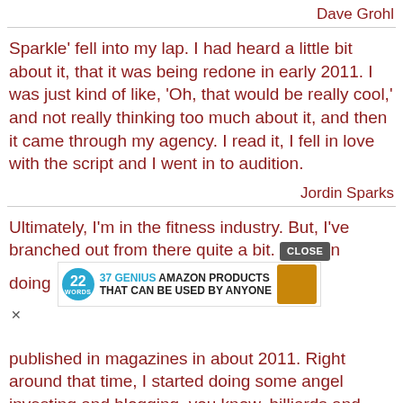Dave Grohl
Sparkle' fell into my lap. I had heard a little bit about it, that it was being redone in early 2011. I was just kind of like, 'Oh, that would be really cool,' and not really thinking too much about it, and then it came through my agency. I read it, I fell in love with the script and I went in to audition.
Jordin Sparks
Ultimately, I'm in the fitness industry. But, I've branched out from there quite a bit. [ad overlay] published in magazines in about 2011. Right around that time, I started doing some angel investing and blogging, you know, billiards and